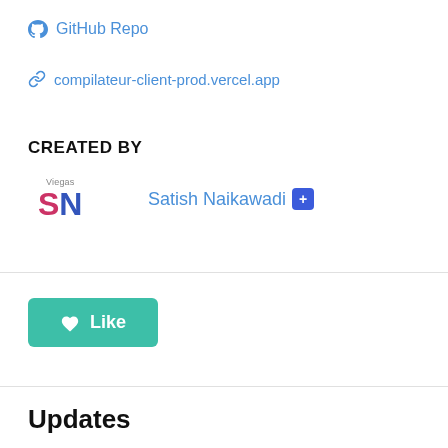🐱 GitHub Repo
🔗 compilateur-client-prod.vercel.app
CREATED BY
[Figure (logo): SN logo with 'Viegas' text above and large stylized SN letters in pink and blue]
Satish Naikawadi +
Like
Updates